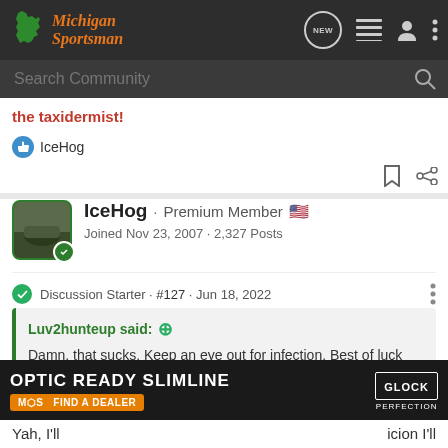Michigan Sportsman
Search Community
the taxidermist!
IceHog
IceHog · Premium Member
Joined Nov 23, 2007 · 2,327 Posts
Discussion Starter · #127 · Jun 18, 2022
Luv2hunteup said:
Damn, that sucks. Keep an eye out for infection. Best of luck with recovery.
Yah, I'll
[Figure (screenshot): OPTIC READY SLIMLINE advertisement banner with MOS and Glock logo, Find a Dealer button]